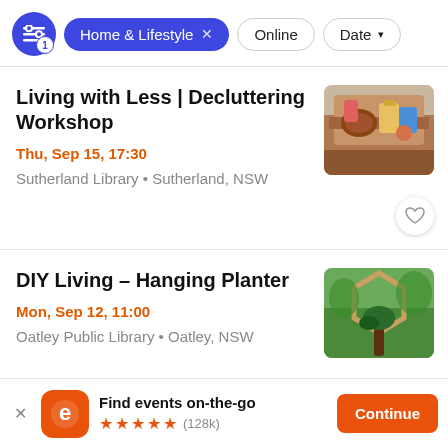[Figure (screenshot): Filter bar with Home & Lifestyle tag, Online and Date filter pills]
Living with Less | Decluttering Workshop
Thu, Sep 15, 17:30
Sutherland Library • Sutherland, NSW
[Figure (photo): Photo of cluttered sofa with bags and items piled on it]
DIY Living – Hanging Planter
Mon, Sep 12, 11:00
Oatley Public Library • Oatley, NSW
[Figure (photo): Photo of a wooden hexagonal hanging planter with plants]
Find events on-the-go
★★★★★ (128k)
Continue